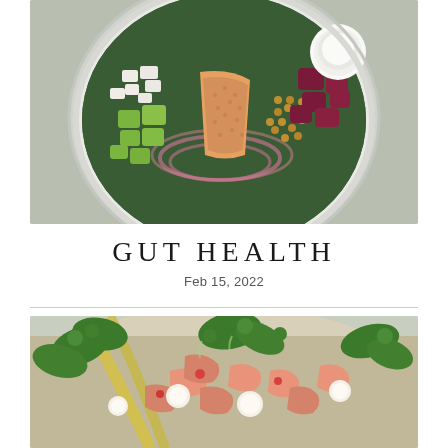[Figure (photo): Top-down view of a healthy grain bowl with salmon, avocado, beets, lentils, red onion, feta cheese, and dressing in a white bowl on a gray surface]
GUT HEALTH
Feb 15, 2022
[Figure (photo): Close-up of a cooked shrimp and vegetable dish with fresh greens and watercress on a plate]